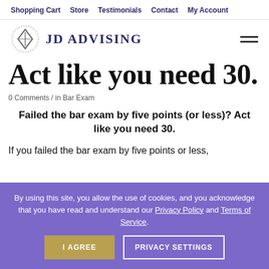Shopping Cart / Store / Testimonials / Contact / My Account
[Figure (logo): JD Advising logo with diamond/book icon and text 'JD ADVISING']
Act like you need 30.
0 Comments / in Bar Exam
Failed the bar exam by five points (or less)? Act like you need 30.
If you failed the bar exam by five points or less,
By using this site, you allow the use of cookies, and you acknowledge that you have read and understand our Privacy Policy and Terms of Service.